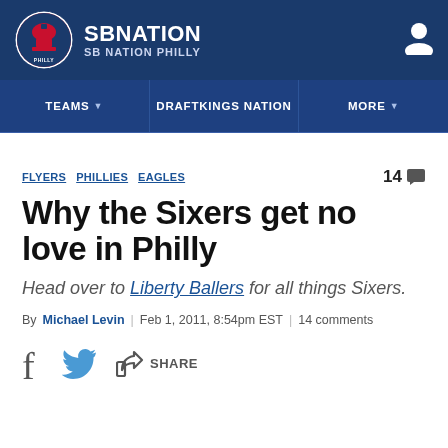SB NATION  SB NATION PHILLY
TEAMS  DRAFTKINGS NATION  MORE
FLYERS  PHILLIES  EAGLES  14
Why the Sixers get no love in Philly
Head over to Liberty Ballers for all things Sixers.
By Michael Levin  |  Feb 1, 2011, 8:54pm EST  |  14 comments
SHARE